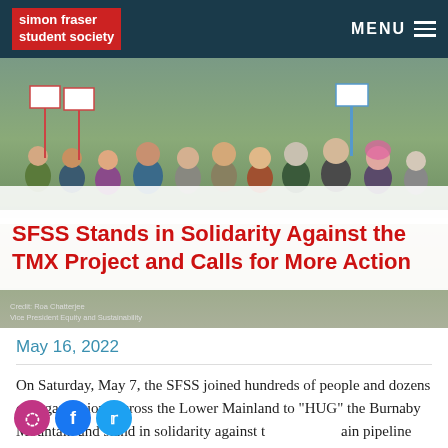simon fraser student society | MENU
[Figure (photo): Group of protesters holding signs on a path, with trees in the background. A large white banner is visible in the foreground. Title overlay reads: SFSS Stands in Solidarity Against the TMX Project and Calls for More Action]
Credit: Roa Chatterjee
Vice President Equity and Sustainability
SFSS Stands in Solidarity Against the TMX Project and Calls for More Action
May 16, 2022
On Saturday, May 7, the SFSS joined hundreds of people and dozens of organisations across the Lower Mainland to "HUG" the Burnaby Mountain and stand in solidarity against the Trans Mountain pipeline Expansion (TMX) project. The pipeline has been approved by the federal government